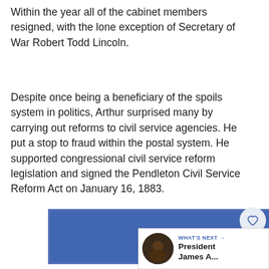Within the year all of the cabinet members resigned, with the lone exception of Secretary of War Robert Todd Lincoln.
Despite once being a beneficiary of the spoils system in politics, Arthur surprised many by carrying out reforms to civil service agencies. He put a stop to fraud within the postal system. He supported congressional civil service reform legislation and signed the Pendleton Civil Service Reform Act on January 16, 1883.
[Figure (other): Blue banner advertisement with white bold text reading “You okay?”]
[Figure (other): Social interaction sidebar with heart icon, share icon, and count of 1]
WHAT'S NEXT → President James A...